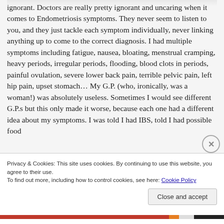ignorant. Doctors are really pretty ignorant and uncaring when it comes to Endometriosis symptoms. They never seem to listen to you, and they just tackle each symptom individually, never linking anything up to come to the correct diagnosis. I had multiple symptoms including fatigue, nausea, bloating, menstrual cramping, heavy periods, irregular periods, flooding, blood clots in periods, painful ovulation, severe lower back pain, terrible pelvic pain, left hip pain, upset stomach… My G.P. (who, ironically, was a woman!) was absolutely useless. Sometimes I would see different G.P.s but this only made it worse, because each one had a different idea about my symptoms. I was told I had IBS, told I had possible food
Privacy & Cookies: This site uses cookies. By continuing to use this website, you agree to their use.
To find out more, including how to control cookies, see here: Cookie Policy